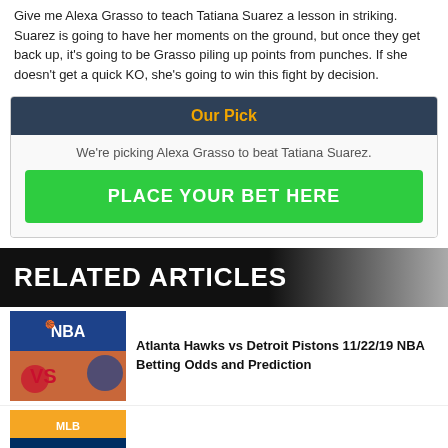Give me Alexa Grasso to teach Tatiana Suarez a lesson in striking. Suarez is going to have her moments on the ground, but once they get back up, it's going to be Grasso piling up points from punches. If she doesn't get a quick KO, she's going to win this fight by decision.
Our Pick
We're picking Alexa Grasso to beat Tatiana Suarez.
PLACE YOUR BET HERE
RELATED ARTICLES
Atlanta Hawks vs Detroit Pistons 11/22/19 NBA Betting Odds and Prediction